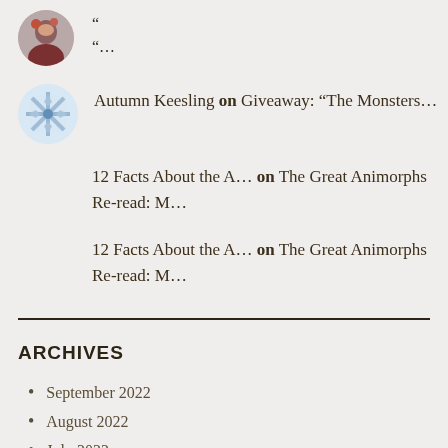“…
Autumn Keesling on Giveaway: “The Monsters…
12 Facts About the A… on The Great Animorphs Re-read: M…
12 Facts About the A… on The Great Animorphs Re-read: M…
ARCHIVES
September 2022
August 2022
July 2022